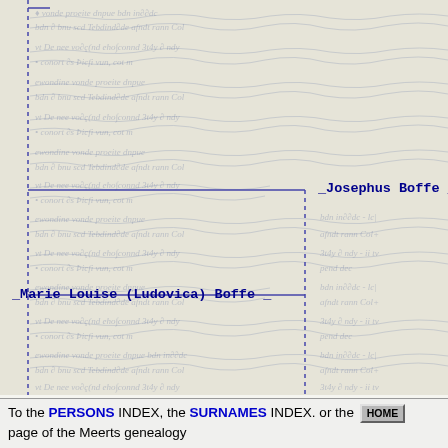[Figure (other): Genealogy family tree diagram showing relationships between Josephus Boffe, Marie Louise (Ludovica) Boffe, and Joanna Maria Piron, overlaid on a faint handwritten manuscript background. Blue dashed vertical lines and a horizontal line connect the names.]
To the PERSONS INDEX, the SURNAMES INDEX. or the HOME page of the Meerts genealogy